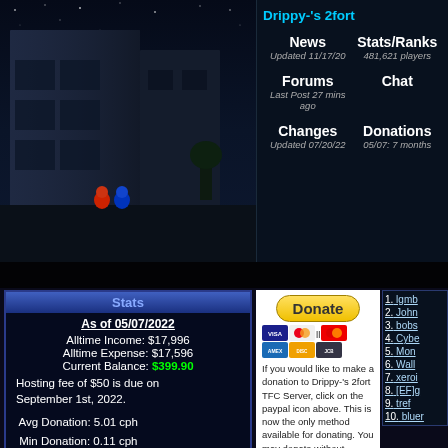[Figure (screenshot): Top-left game screenshot showing TFC 2fort map with buildings at night]
Drippy-'s 2fort
News
Updated 11/17/20
Stats/Ranks
481,621 players
Forums
Last Post 27 mins ago
Chat
Changes
Updated 07/20/22
Donations
05/07: 7 months
| Stats |
| --- |
| As of 05/07/2022 |
| Alltime Income: $17,996 |
| Alltime Expense: $17,596 |
| Current Balance: $399.90 |
| Hosting fee of $50 is due on September 1st, 2022. |
| Avg Donation: 5.01 cph |
| Min Donation: 0.11 cph |
| Max Donation: 241.01 cph |
| cph = cents per hour |
[Figure (other): PayPal Donate button with credit card icons (VISA, Mastercard, Discover, etc.)]
If you would like to make a donation to Drippy-'s 2fort TFC Server, click on the paypal icon above. This is now the only method available for donating. You may donate without having to create a PayPal account. All donations will go towards hosting costs for the server(s), the details can be found in the Stats box to the left.
Donations will also...
1. lgmb
2. John
3. bobs
4. Cybe
5. Mon
6. Wall
7. xeroi
8. [EF]g
9. tref
10. bluer